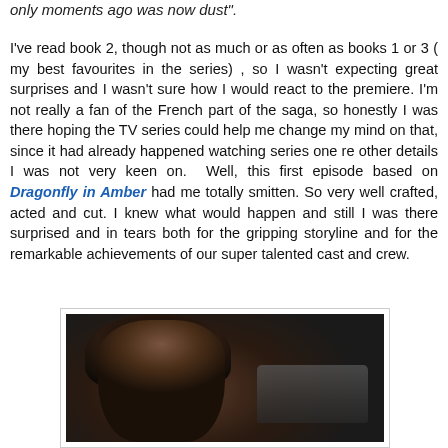only moments ago was now dust”.
I've read book 2, though not as much or as often as books 1 or 3 ( my best favourites in the series) , so I wasn't expecting great surprises and I wasn't sure how I would react to the premiere. I'm not really a fan of the French part of the saga, so honestly I was there hoping the TV series could help me change my mind on that, since it had already happened watching series one re other details I was not very keen on. Well, this first episode based on Dragonfly in Amber had me totally smitten. So very well crafted, acted and cut. I knew what would happen and still I was there surprised and in tears both for the gripping storyline and for the remarkable achievements of our super talented cast and crew.
[Figure (photo): A dark-toned photograph showing a woman with long dark wavy hair in the foreground, with a vintage car visible in the background.]